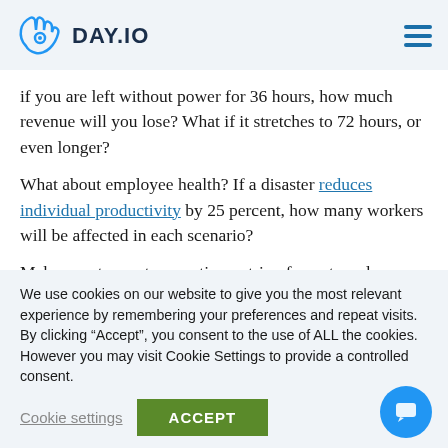DAY.IO
if you are left without power for 36 hours, how much revenue will you lose? What if it stretches to 72 hours, or even longer?
What about employee health? If a disaster reduces individual productivity by 25 percent, how many workers will be affected in each scenario?
Make sure to create an entire matrix of events and their consequences to understand how this…
We use cookies on our website to give you the most relevant experience by remembering your preferences and repeat visits. By clicking “Accept”, you consent to the use of ALL the cookies. However you may visit Cookie Settings to provide a controlled consent.